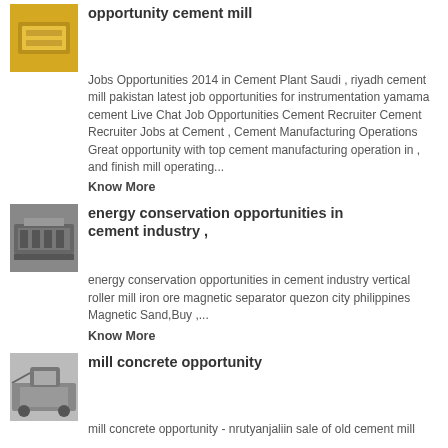opportunity cement mill
Jobs Opportunities 2014 in Cement Plant Saudi , riyadh cement mill pakistan latest job opportunities for instrumentation yamama cement Live Chat Job Opportunities Cement Recruiter Cement Recruiter Jobs at Cement , Cement Manufacturing Operations Great opportunity with top cement manufacturing operation in , and finish mill operating...
Know More
energy conservation opportunities in cement industry ,
energy conservation opportunities in cement industry vertical roller mill iron ore magnetic separator quezon city philippines Magnetic Sand,Buy ,...
Know More
mill concrete opportunity
mill concrete opportunity - nrutyanjaliin sale of old cement mill